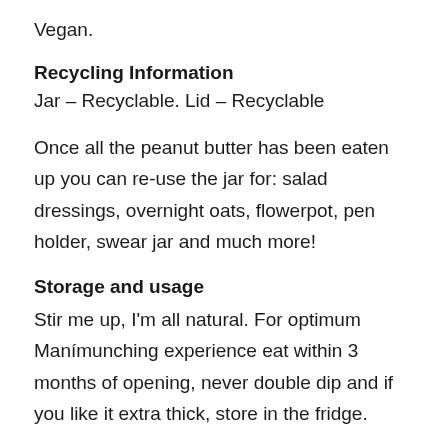Vegan.
Recycling Information
Jar – Recyclable. Lid – Recyclable
Once all the peanut butter has been eaten up you can re-use the jar for: salad dressings, overnight oats, flowerpot, pen holder, swear jar and much more!
Storage and usage
Stir me up, I'm all natural. For optimum Manímunching experience eat within 3 months of opening, never double dip and if you like it extra thick, store in the fridge.